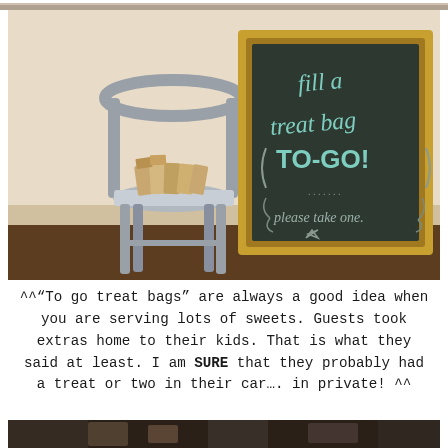[Figure (photo): A silver metal chair with brown paper bags stacked on the seat, next to a large chalkboard sign in a gold frame that reads 'fill a treat bag TO-GO! please take one' with chalk lettering and swirls.]
^^"To go treat bags" are always a good idea when you are serving lots of sweets. Guests took extras home to their kids. That is what they said at least. I am SURE that they probably had a treat or two in their car.... in private! ^^
[Figure (photo): Partial view of a table with various items, bottom of page.]